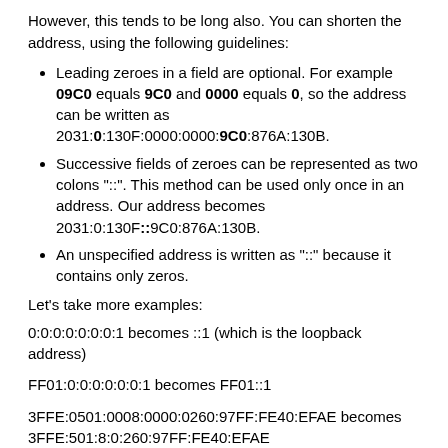However, this tends to be long also. You can shorten the address, using the following guidelines:
Leading zeroes in a field are optional. For example 09C0 equals 9C0 and 0000 equals 0, so the address can be written as 2031:0:130F:0000:0000:9C0:876A:130B.
Successive fields of zeroes can be represented as two colons "::". This method can be used only once in an address. Our address becomes 2031:0:130F::9C0:876A:130B.
An unspecified address is written as "::" because it contains only zeros.
Let's take more examples:
0:0:0:0:0:0:0:1 becomes ::1 (which is the loopback address)
FF01:0:0:0:0:0:0:1 becomes FF01::1
3FFE:0501:0008:0000:0260:97FF:FE40:EFAE becomes 3FFE:501:8:0:260:97FF:FE40:EFAE
Because some companies want to "hide" some of their hosts from the Internet, there is also a private address block space